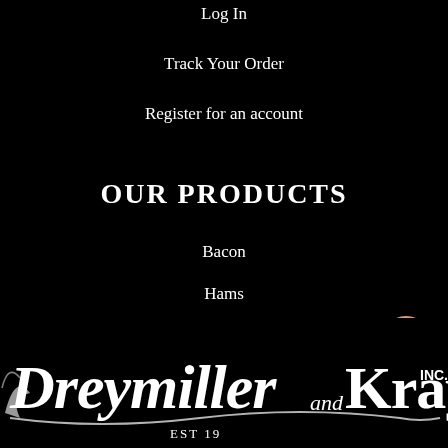Log In
Track Your Order
Register for an account
OUR PRODUCTS
Bacon
Hams
Pork
Salami & Sausage
Gifts
[Figure (logo): Dreymiller and Kray Inc. logo in white ornate lettering on black background]